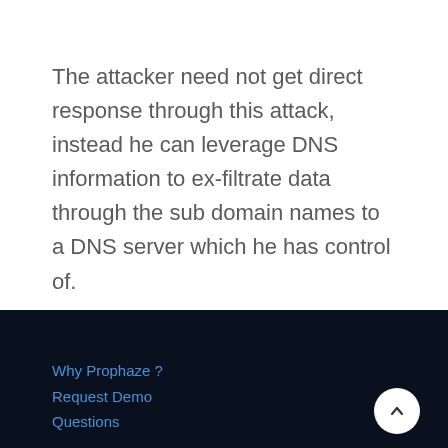The attacker need not get direct response through this attack, instead he can leverage DNS information to ex-filtrate data through the sub domain names to a DNS server which he has control of.
Why Prophaze ?
Request Demo
Questions